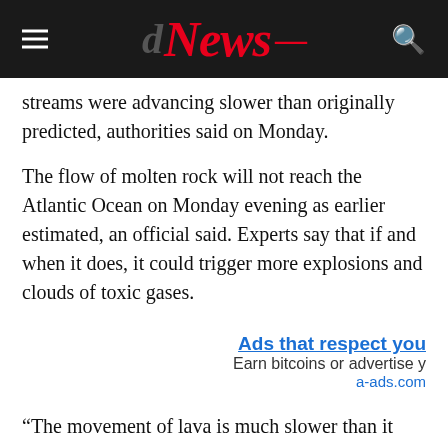News
streams were advancing slower than originally predicted, authorities said on Monday.
The flow of molten rock will not reach the Atlantic Ocean on Monday evening as earlier estimated, an official said. Experts say that if and when it does, it could trigger more explosions and clouds of toxic gases.
[Figure (other): Advertisement banner: 'Ads that respect you — Earn bitcoins or advertise y... — a-ads.com']
“The movement of lava is much slower than it was initially … There has not been a large advance during the day,” local emergency coordinator Miguel Angel Morcuende